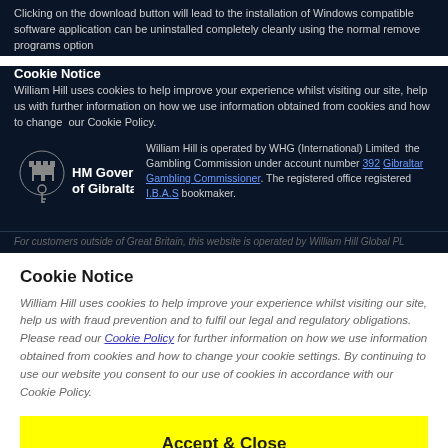Clicking on the download button will lead to the installation of Windows compatible software application can be uninstalled completely cleanly using the normal remove programs option
Cookie Notice
William Hill uses cookies to help improve your experience whilst visiting our site, help us further information on how we use information obtained from cookies and how to change our Cookie Policy.
[Figure (logo): HM Government of Gibraltar logo with coat of arms]
William Hill is operated by WHG (International) Limited the Gambling Commission under account number 392 Gibraltar Gambling Commissioner. The registered office registered I.B.A.S bookmaker.
For customers outside of Great Britain, this website is operated by William Hill Global PL
Cookie Notice
William Hill uses cookies to help improve your experience whilst visiting our site, help us with fraud prevention and to fulfil our legal and regulatory obligations. Please read our Cookie Policy for further information on how we use information obtained from cookies and how to change your cookie settings. By continuing to use our website you consent to our use of cookies in accordance with our Cookie Policy.
Accept & Close